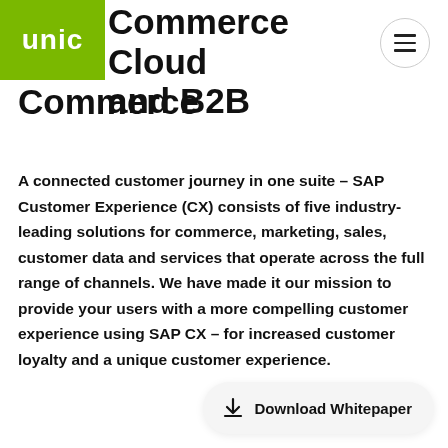[Figure (logo): Green square logo with white text 'unic']
Commerce Cloud and B2B Commerce
A connected customer journey in one suite – SAP Customer Experience (CX) consists of five industry-leading solutions for commerce, marketing, sales, customer data and services that operate across the full range of channels. We have made it our mission to provide your users with a more compelling customer experience using SAP CX – for increased customer loyalty and a unique customer experience.
[Figure (other): Download Whitepaper button with download icon]